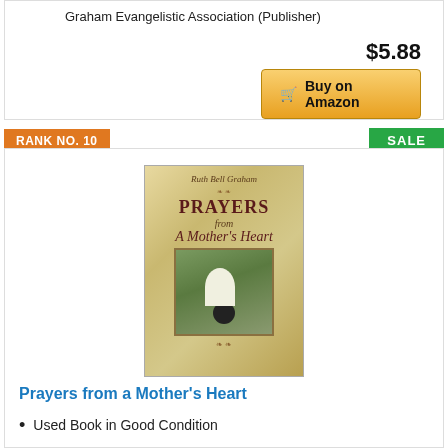Graham Evangelistic Association (Publisher)
$5.88
Buy on Amazon
RANK NO. 10
SALE
[Figure (photo): Book cover of 'Prayers from a Mother's Heart' by Ruth Bell Graham, showing a golden/cream background with the book title and an inset image of a mother and child with a dog in a field.]
Prayers from a Mother's Heart
Used Book in Good Condition